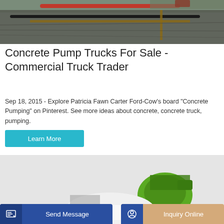[Figure (photo): Aerial/overhead view of concrete pumping operation with pipes and gravel surface]
Concrete Pump Trucks For Sale - Commercial Truck Trader
Sep 18, 2015 - Explore Patricia Fawn Carter Ford-Cow's board "Concrete Pumping" on Pinterest. See more ideas about concrete, concrete truck, pumping.
Learn More
[Figure (photo): Green concrete mixer truck on light grey background]
Send Message
Inquiry Online